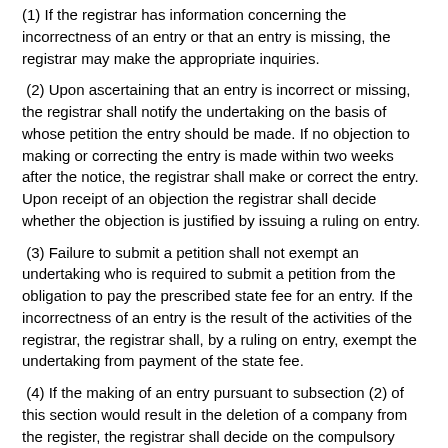(1) If the registrar has information concerning the incorrectness of an entry or that an entry is missing, the registrar may make the appropriate inquiries.
(2) Upon ascertaining that an entry is incorrect or missing, the registrar shall notify the undertaking on the basis of whose petition the entry should be made. If no objection to making or correcting the entry is made within two weeks after the notice, the registrar shall make or correct the entry. Upon receipt of an objection the registrar shall decide whether the objection is justified by issuing a ruling on entry.
(3) Failure to submit a petition shall not exempt an undertaking who is required to submit a petition from the obligation to pay the prescribed state fee for an entry. If the incorrectness of an entry is the result of the activities of the registrar, the registrar shall, by a ruling on entry, exempt the undertaking from payment of the state fee.
(4) If the making of an entry pursuant to subsection (2) of this section would result in the deletion of a company from the register, the registrar shall decide on the compulsory dissolution of the company.
[RT I 2005, 57, 449 – entry into force 01.01.2006]